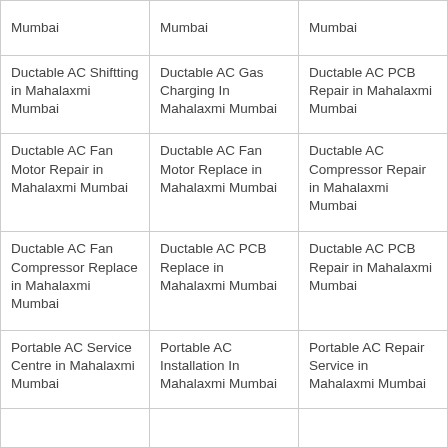| Mumbai | Mumbai | Mumbai |
| Ductable AC Shiftting in Mahalaxmi Mumbai | Ductable AC Gas Charging In Mahalaxmi Mumbai | Ductable AC PCB Repair in Mahalaxmi Mumbai |
| Ductable AC Fan Motor Repair in Mahalaxmi Mumbai | Ductable AC Fan Motor Replace in Mahalaxmi Mumbai | Ductable AC Compressor Repair in Mahalaxmi Mumbai |
| Ductable AC Fan Compressor Replace in Mahalaxmi Mumbai | Ductable AC PCB Replace in Mahalaxmi Mumbai | Ductable AC PCB Repair in Mahalaxmi Mumbai |
| Portable AC Service Centre in Mahalaxmi Mumbai | Portable AC Installation In Mahalaxmi Mumbai | Portable AC Repair Service in Mahalaxmi Mumbai |
|  |  |  |